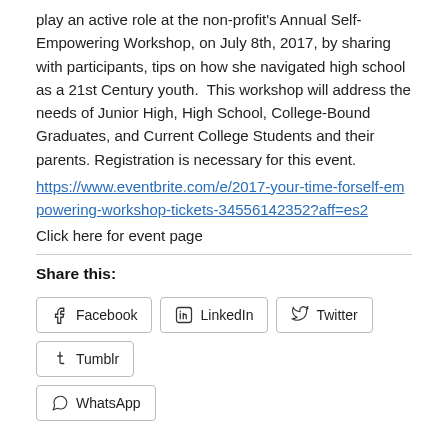play an active role at the non-profit's Annual Self-Empowering Workshop, on July 8th, 2017, by sharing with participants, tips on how she navigated high school as a 21st Century youth.  This workshop will address the needs of Junior High, High School, College-Bound Graduates, and Current College Students and their parents. Registration is necessary for this event.
https://www.eventbrite.com/e/2017-your-time-forself-empowering-workshop-tickets-34556142352?aff=es2
Click here for event page
Share this:
Facebook
LinkedIn
Twitter
Tumblr
WhatsApp